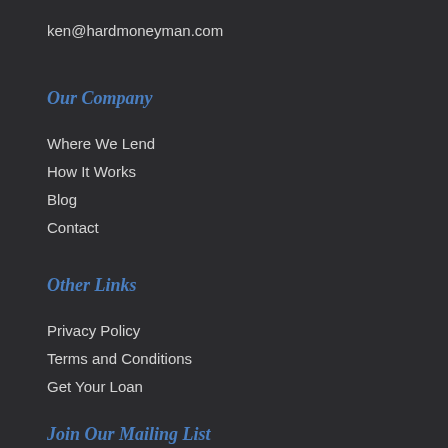ken@hardmoneyman.com
Our Company
Where We Lend
How It Works
Blog
Contact
Other Links
Privacy Policy
Terms and Conditions
Get Your Loan
Join Our Mailing List
Enter your email below to receive important blog and funding updates.